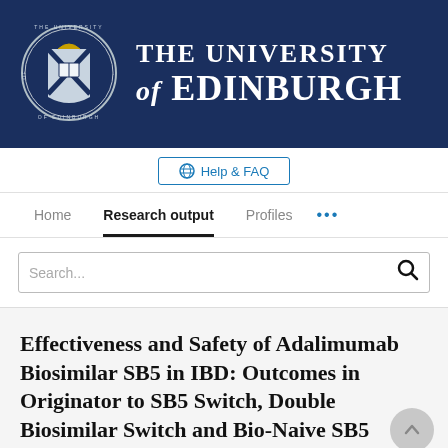[Figure (logo): University of Edinburgh crest and wordmark on dark navy background]
Help & FAQ
Home  Research output  Profiles  ...
Search...
Effectiveness and Safety of Adalimumab Biosimilar SB5 in IBD: Outcomes in Originator to SB5 Switch, Double Biosimilar Switch and Bio-Naive SB5...